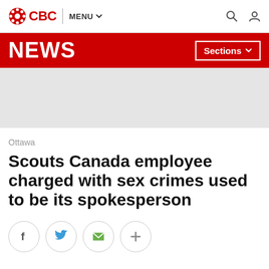CBC | MENU
NEWS | Sections
[Figure (other): Grey advertisement placeholder banner]
Ottawa
Scouts Canada employee charged with sex crimes used to be its spokesperson
[Figure (other): Social share buttons: Facebook, Twitter, Email, More]